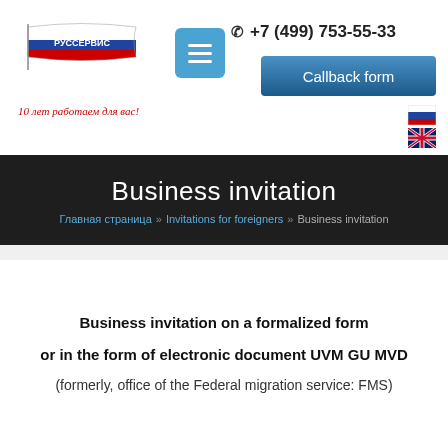[Figure (logo): RussService logo with Russian flag waving and 'РУССЕРВИС' text]
[Figure (other): Blue square menu button with three horizontal lines (hamburger icon)]
+7 (499) 753-55-33
Callback form
10 лет работаем для вас!
Business invitation
Главная страница » Invitations for foreigners » Business invitation
Business invitation on a formalized form
or in the form of electronic document UVM GU MVD
(formerly, office of the Federal migration service: FMS)